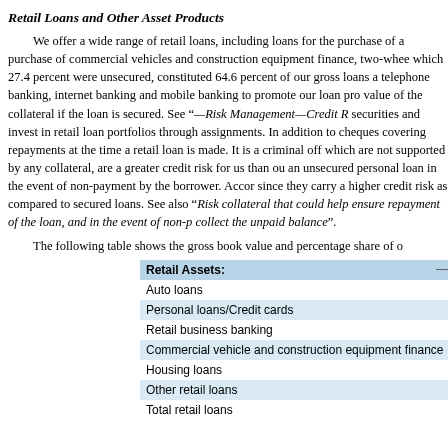Retail Loans and Other Asset Products
We offer a wide range of retail loans, including loans for the purchase of a purchase of commercial vehicles and construction equipment finance, two-whee which 27.4 percent were unsecured, constituted 64.6 percent of our gross loans a telephone banking, internet banking and mobile banking to promote our loan pro value of the collateral if the loan is secured. See “—Risk Management—Credit R securities and invest in retail loan portfolios through assignments. In addition to cheques covering repayments at the time a retail loan is made. It is a criminal off which are not supported by any collateral, are a greater credit risk for us than ou an unsecured personal loan in the event of non-payment by the borrower. Accor since they carry a higher credit risk as compared to secured loans. See also “Risk collateral that could help ensure repayment of the loan, and in the event of non-p collect the unpaid balance”.
The following table shows the gross book value and percentage share of o
|  | — |
| --- | --- |
| Retail Assets: |  |
| Auto loans |  |
| Personal loans/Credit cards |  |
| Retail business banking |  |
| Commercial vehicle and construction equipment finance |  |
| Housing loans |  |
| Other retail loans |  |
| Total retail loans |  |